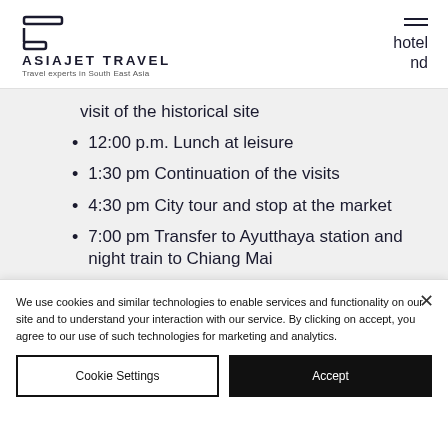ASIAJET TRAVEL — Travel experts in South East Asia
visit of the historical site
12:00 p.m. Lunch at leisure
1:30 pm Continuation of the visits
4:30 pm City tour and stop at the market
7:00 pm Transfer to Ayutthaya station and night train to Chiang Mai
We use cookies and similar technologies to enable services and functionality on our site and to understand your interaction with our service. By clicking on accept, you agree to our use of such technologies for marketing and analytics.